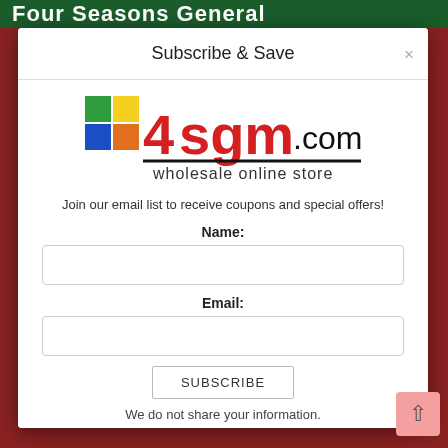Four Seasons General
Subscribe & Save
[Figure (logo): 4sgm.com wholesale online store logo with colored grid squares (green, yellow, blue, orange) and red bold text '4sgm' followed by '.com' in black, with 'wholesale online store' tagline beneath a black rule]
Join our email list to receive coupons and special offers!
Name:
Email:
SUBSCRIBE
We do not share your information.